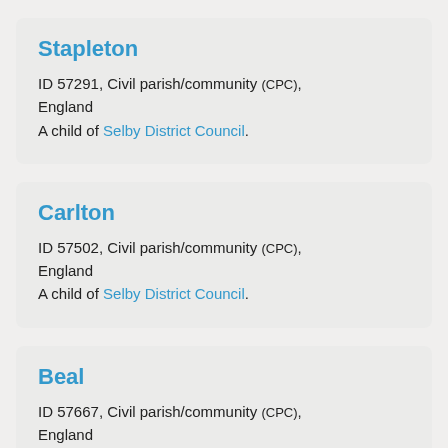Stapleton
ID 57291, Civil parish/community (CPC), England
A child of Selby District Council.
Carlton
ID 57502, Civil parish/community (CPC), England
A child of Selby District Council.
Beal
ID 57667, Civil parish/community (CPC), England
A child of Selby District Council.